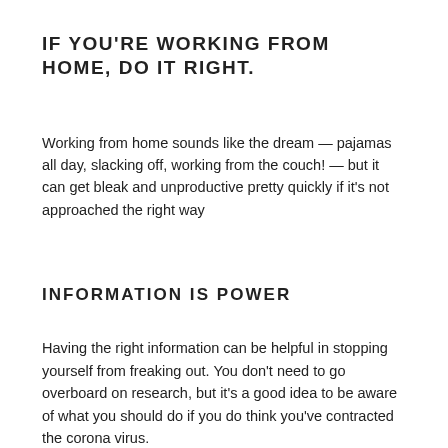IF YOU'RE WORKING FROM HOME, DO IT RIGHT.
Working from home sounds like the dream — pajamas all day, slacking off, working from the couch! — but it can get bleak and unproductive pretty quickly if it's not approached the right way
INFORMATION IS POWER
Having the right information can be helpful in stopping yourself from freaking out. You don't need to go overboard on research, but it's a good idea to be aware of what you should do if you do think you've contracted the corona virus.
And perhaps the easiest way to stay healthy is to maintain